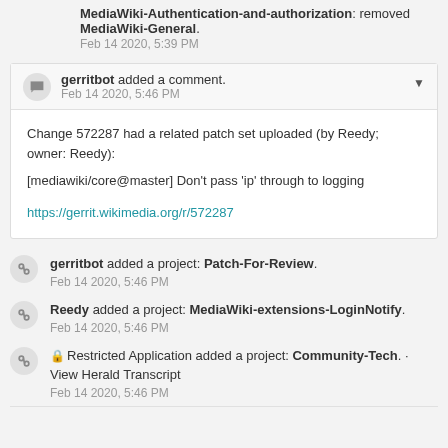MediaWiki-Authentication-and-authorization: removed MediaWiki-General. Feb 14 2020, 5:39 PM
gerritbot added a comment. Feb 14 2020, 5:46 PM
Change 572287 had a related patch set uploaded (by Reedy; owner: Reedy):
[mediawiki/core@master] Don't pass 'ip' through to logging
https://gerrit.wikimedia.org/r/572287
gerritbot added a project: Patch-For-Review. Feb 14 2020, 5:46 PM
Reedy added a project: MediaWiki-extensions-LoginNotify. Feb 14 2020, 5:46 PM
Restricted Application added a project: Community-Tech. · View Herald Transcript Feb 14 2020, 5:46 PM